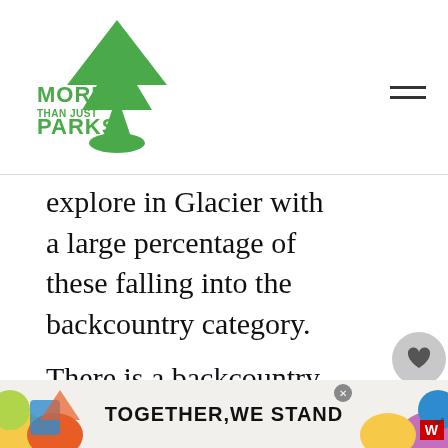[Figure (logo): More Than Just Parks logo — green arrowhead/tree icon with text]
explore in Glacier with a large percentage of these falling into the backcountry category.
There is a backcountry permit office located at Lake McDonald for interested parties with rangers share their extensive knowledge of
[Figure (screenshot): Floating UI: heart icon button with count 144, and share button]
[Figure (infographic): What's Next recommendation panel: 15 EPIC Things to D...]
[Figure (screenshot): Bottom advertisement banner: TOGETHER WE STAND with colorful shapes and CNN logo]